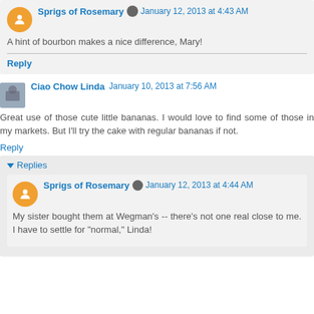A hint of bourbon makes a nice difference, Mary!
Reply
Ciao Chow Linda  January 10, 2013 at 7:56 AM
Great use of those cute little bananas. I would love to find some of those in my markets. But I'll try the cake with regular bananas if not.
Reply
Replies
Sprigs of Rosemary  January 12, 2013 at 4:44 AM
My sister bought them at Wegman's -- there's not one real close to me. I have to settle for "normal," Linda!